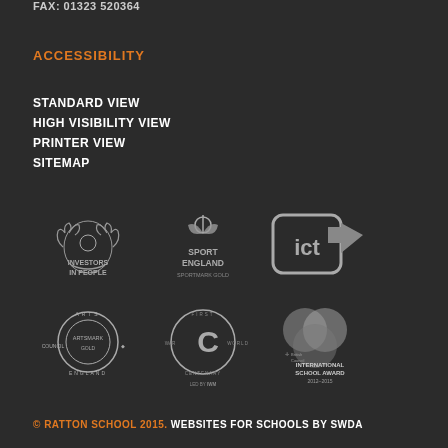FAX: 01323 520364
ACCESSIBILITY
STANDARD VIEW
HIGH VISIBILITY VIEW
PRINTER VIEW
SITEMAP
[Figure (logo): Investors in People logo - laurel wreath with text INVESTORS IN PEOPLE]
[Figure (logo): Sport England Sportmark Gold logo]
[Figure (logo): ICT mark logo - box with ict text and arrow]
[Figure (logo): Arts Council England Artsmark Gold logo]
[Figure (logo): First World War Centenary led by IWM logo]
[Figure (logo): British Council International School Award 2012-2015 logo]
© RATTON SCHOOL 2015. WEBSITES FOR SCHOOLS BY SWDA